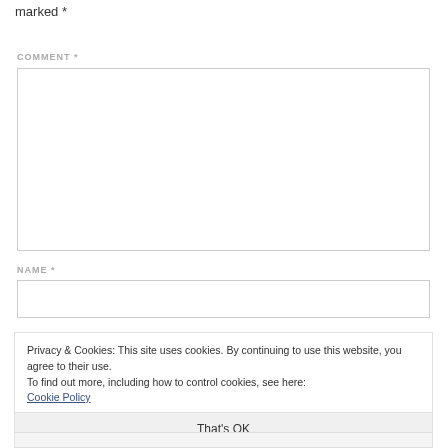marked *
COMMENT *
NAME *
Privacy & Cookies: This site uses cookies. By continuing to use this website, you agree to their use.
To find out more, including how to control cookies, see here:
Cookie Policy
That's OK